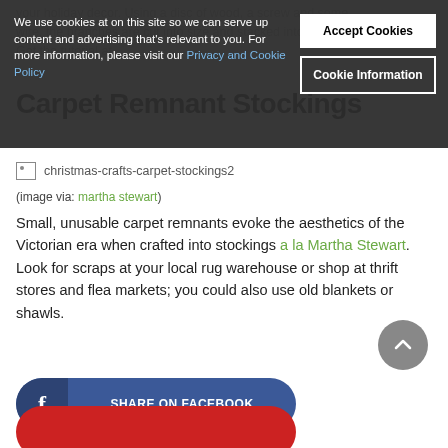your holiday decor. Using a disc of wood, a screw and some wire, the branches are cut into size and stacked into shape. Get the tutorial at...
Carpet Remnant Stockings
We use cookies at on this site so we can serve up content and advertising that's relevant to you. For more information, please visit our Privacy and Cookie Policy
[Figure (other): Broken image placeholder for christmas-crafts-carpet-stockings2]
(image via: martha stewart)
Small, unusable carpet remnants evoke the aesthetics of the Victorian era when crafted into stockings a la Martha Stewart. Look for scraps at your local rug warehouse or shop at thrift stores and flea markets; you could also use old blankets or shawls.
[Figure (other): Scroll to top circular arrow button]
[Figure (other): Share on Facebook button]